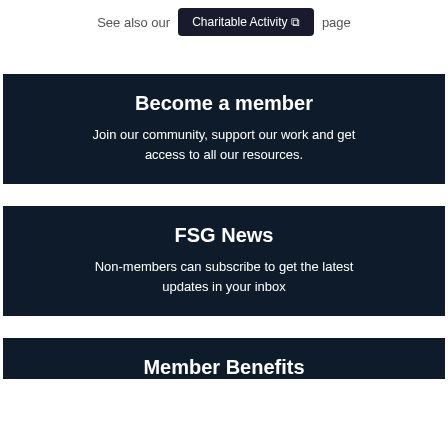See also our Charitable Activity page
Become a member
Join our community, support our work and get access to all our resources.
FSG News
Non-members can subscribe to get the latest updates in your inbox
Member Benefits